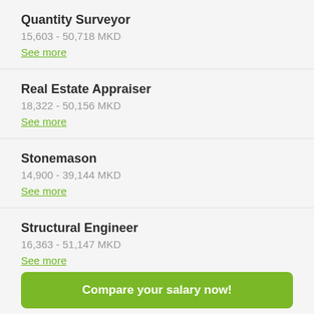Quantity Surveyor
15,603 - 50,718 MKD
See more
Real Estate Appraiser
18,322 - 50,156 MKD
See more
Stonemason
14,900 - 39,144 MKD
See more
Structural Engineer
16,363 - 51,147 MKD
See more
Compare your salary now!